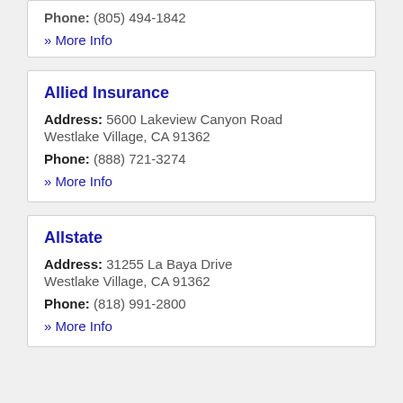Phone: (805) 494-1842
» More Info
Allied Insurance
Address: 5600 Lakeview Canyon Road Westlake Village, CA 91362
Phone: (888) 721-3274
» More Info
Allstate
Address: 31255 La Baya Drive Westlake Village, CA 91362
Phone: (818) 991-2800
» More Info